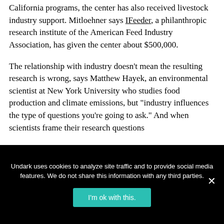California programs, the center has also received livestock industry support. Mitloehner says IFeeder, a philanthropic research institute of the American Feed Industry Association, has given the center about $500,000.
The relationship with industry doesn't mean the resulting research is wrong, says Matthew Hayek, an environmental scientist at New York University who studies food production and climate emissions, but "industry influences the type of questions you're going to ask." And when scientists frame their research questions
Undark uses cookies to analyze site traffic and to provide social media features. We do not share this information with any third parties.